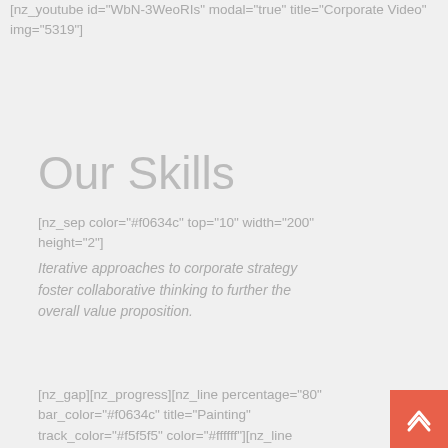[nz_youtube id="WbN-3WeoRIs" modal="true" title="Corporate Video" img="5319"]
Our Skills
[nz_sep color="#f0634c" top="10" width="200" height="2"]
Iterative approaches to corporate strategy foster collaborative thinking to further the overall value proposition.
[nz_gap][nz_progress][nz_line percentage="80" bar_color="#f0634c" title="Painting" track_color="#f5f5f5" color="#ffffff"][nz_line percentage="90" bar_color="#f0634c" title="Repairing" track_color="#f5f5f5" color="#ffffff"][nz_line percentage="95" bar_color="#f0634c" title="Gardening" track_color="#f5f5f5" color="#ffffff"]